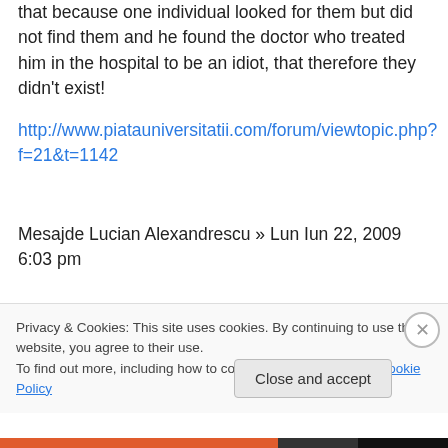that because one individual looked for them but did not find them and he found the doctor who treated him in the hospital to be an idiot, that therefore they didn't exist!
http://www.piatauniversitatii.com/forum/viewtopic.php?f=21&t=1142
Mesajde Lucian Alexandrescu » Lun Iun 22, 2009 6:03 pm
Toata vorbaraia, cu gloantedum-dum si cu cap vidia, nu are decat rolul de a mai adauga un
Privacy & Cookies: This site uses cookies. By continuing to use this website, you agree to their use.
To find out more, including how to control cookies, see here: Cookie Policy